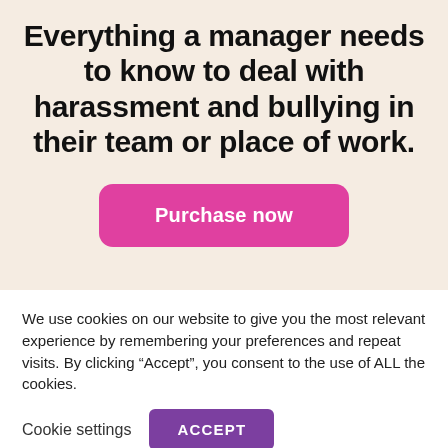Everything a manager needs to know to deal with harassment and bullying in their team or place of work.
Purchase now
We use cookies on our website to give you the most relevant experience by remembering your preferences and repeat visits. By clicking “Accept”, you consent to the use of ALL the cookies.
Cookie settings
ACCEPT